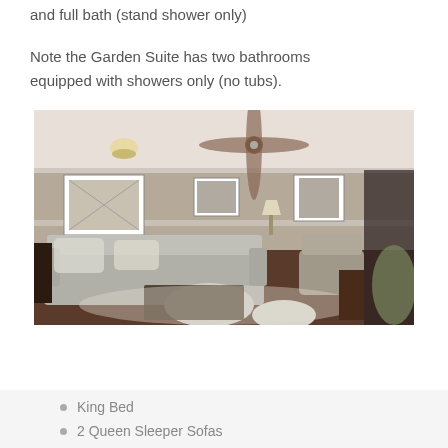and full bath (stand shower only)
Note the Garden Suite has two bathrooms equipped with showers only (no tubs).
[Figure (photo): Interior photo of a hotel suite living area with gray sofa, accent chairs, ceiling fan, framed artwork on walls, and dark hardwood floors.]
King Bed
2 Queen Sleeper Sofas